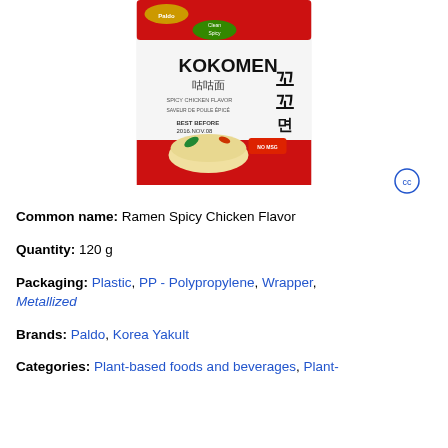[Figure (photo): Product photo of Kokomen Spicy Chicken Flavor ramen packet (Paldo brand), red and white packaging with Korean text and noodle bowl image]
Common name: Ramen Spicy Chicken Flavor
Quantity: 120 g
Packaging: Plastic, PP - Polypropylene, Wrapper, Metallized
Brands: Paldo, Korea Yakult
Categories: Plant-based foods and beverages, Plant-...